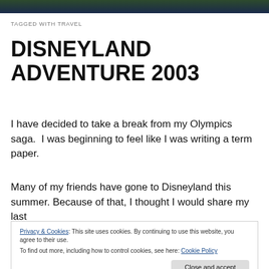TAGGED WITH TRAVEL
DISNEYLAND ADVENTURE 2003
I have decided to take a break from my Olympics saga.  I was beginning to feel like I was writing a term paper.
Many of my friends have gone to Disneyland this summer. Because of that, I thought I would share my last
Privacy & Cookies: This site uses cookies. By continuing to use this website, you agree to their use.
To find out more, including how to control cookies, see here: Cookie Policy
Close and accept